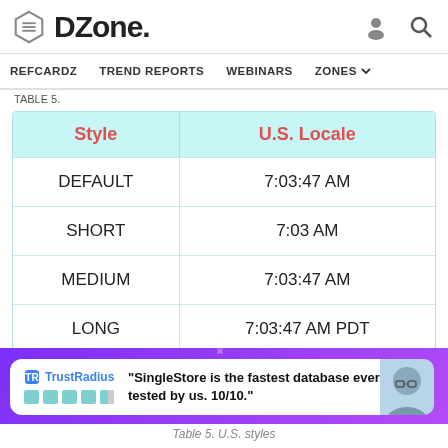DZone. [navigation: REFCARDZ, TREND REPORTS, WEBINARS, ZONES]
TABLE 5.
| Style | U.S. Locale |
| --- | --- |
| DEFAULT | 7:03:47 AM |
| SHORT | 7:03 AM |
| MEDIUM | 7:03:47 AM |
| LONG | 7:03:47 AM PDT |
[Figure (other): TrustRadius advertisement banner with quote: 'SingleStore is the fastest database ever tested by us. 10/10.']
Table 5. U.S. styles